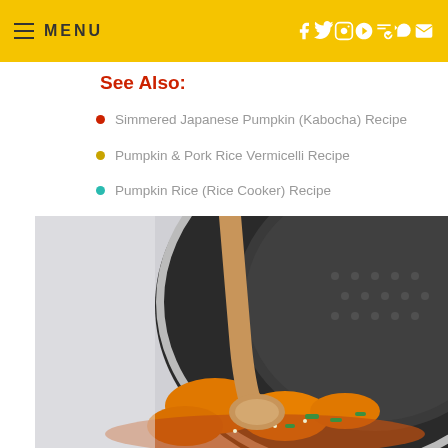MENU
See Also:
Simmered Japanese Pumpkin (Kabocha) Recipe
Pumpkin & Pork Rice Vermicelli Recipe
Pumpkin Rice (Rice Cooker) Recipe
[Figure (photo): A wooden spoon resting in a dark patterned wok/pan containing orange pumpkin pieces with green onion garnish in a savory sauce]